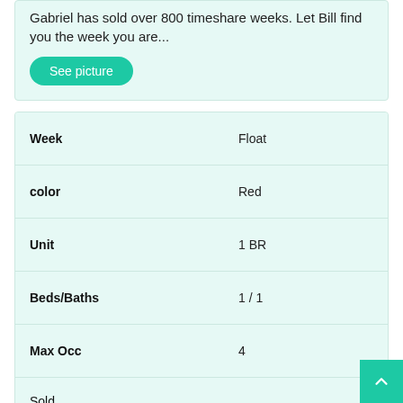Gabriel has sold over 800 timeshare weeks. Let Bill find you the week you are...
See picture
| Property | Value |
| --- | --- |
| Week | Float |
| color | Red |
| Unit | 1 BR |
| Beds/Baths | 1 / 1 |
| Max Occ | 4 |
| Sold |  |